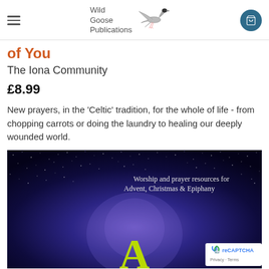Wild Goose Publications
of You
The Iona Community
£8.99
New prayers, in the 'Celtic' tradition, for the whole of life - from chopping carrots or doing the laundry to healing our deeply wounded world.
[Figure (photo): Book cover showing a starry night sky with the text 'Worship and prayer resources for Advent, Christmas & Epiphany' and a large green letter A at the bottom]